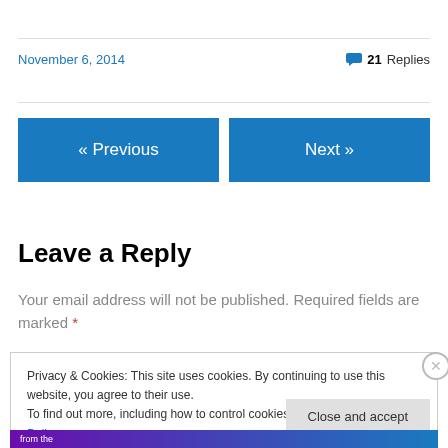November 6, 2014
21 Replies
« Previous
Next »
Leave a Reply
Your email address will not be published. Required fields are marked *
Privacy & Cookies: This site uses cookies. By continuing to use this website, you agree to their use. To find out more, including how to control cookies, see here: Cookie Policy
Close and accept